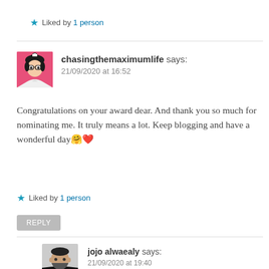★ Liked by 1 person
[Figure (photo): Avatar image for chasingthemaximumlife - cartoon girl with pink background]
chasingthemaximumlife says:
21/09/2020 at 16:52
Congratulations on your award dear. And thank you so much for nominating me. It truly means a lot. Keep blogging and have a wonderful day 🤗❤
★ Liked by 1 person
REPLY
[Figure (photo): Avatar photo of jojo alwaealy - man in dark shirt]
jojo alwaealy says:
21/09/2020 at 19:40
Thank you so much, dear!! And you truly deserve it 🤗❤